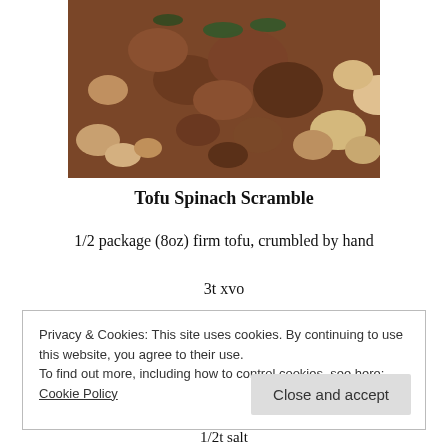[Figure (photo): Close-up photo of tofu spinach scramble dish with crumbled tofu and greens]
Tofu Spinach Scramble
1/2 package (8oz) firm tofu, crumbled by hand
3t xvo
Privacy & Cookies: This site uses cookies. By continuing to use this website, you agree to their use.
To find out more, including how to control cookies, see here: Cookie Policy
Close and accept
1/2t salt